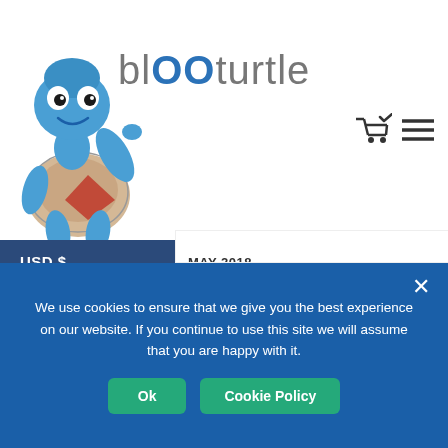[Figure (logo): BlooTurtle website logo with blue cartoon turtle mascot and 'blOOturtle' text]
USD $
EUR €
AUD $
CAD $
GBP £
NZD $
MAY 2018
APRIL 2018
MARCH 2018
We use cookies to ensure that we give you the best experience on our website. If you continue to use this site we will assume that you are happy with it.
Ok
Cookie Policy